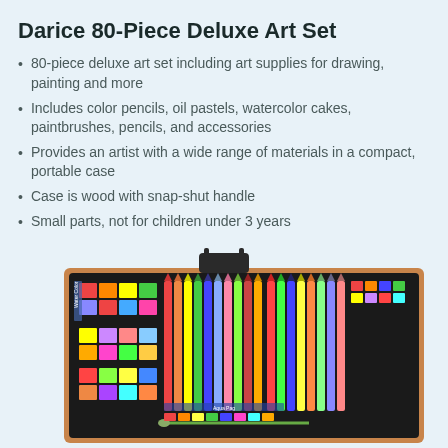Darice 80-Piece Deluxe Art Set
80-piece deluxe art set including art supplies for drawing, painting and more
Includes color pencils, oil pastels, watercolor cakes, paintbrushes, pencils, and accessories
Provides an artist with a wide range of materials in a compact, portable case
Case is wood with snap-shut handle
Small parts, not for children under 3 years
[Figure (photo): Open wooden art case showing color pencils, oil pastels, watercolor cakes, and paintbrushes arranged in compartments, with a black snap-shut handle visible at top.]